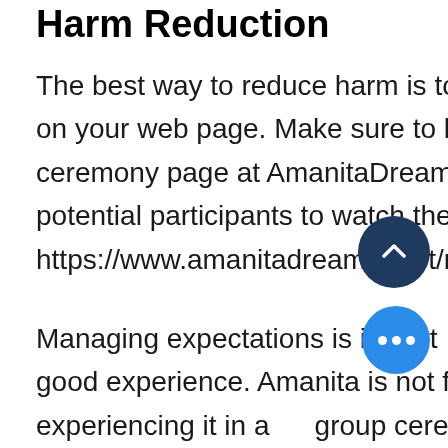Harm Reduction
The best way to reduce harm is to provide good education on your web page. Make sure to leave a link to the ceremony page at AmanitaDreamer.net and instruct potential participants to watch the videos. This is the link: https://www.amanitadreamer.net/retreat
Managing expectations is important for everyone to have a good experience. Amanita is not for everyone and experiencing it in a group ceremony setting may not be